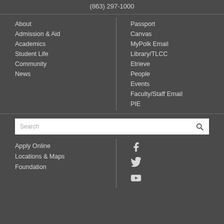(863) 297-1000
About
Admission & Aid
Academics
Student Life
Community
News
Passport
Canvas
MyPolk Email
Library/TLCC
Etrieve
People
Events
Faculty/Staff Email
PIE
Apply Online
Locations & Maps
Foundation
[Figure (illustration): Facebook, Twitter, and YouTube social media icons]